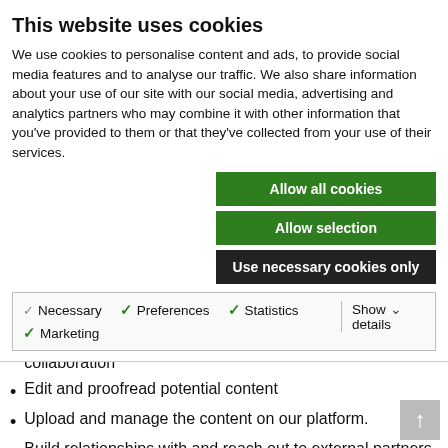This website uses cookies
We use cookies to personalise content and ads, to provide social media features and to analyse our traffic. We also share information about your use of our site with our social media, advertising and analytics partners who may combine it with other information that you’ve provided to them or that they’ve collected from your use of their services.
[Figure (screenshot): Cookie consent buttons: 'Allow all cookies' (green), 'Allow selection' (green), 'Use necessary cookies only' (dark/black)]
[Figure (screenshot): Cookie category checkboxes: Necessary (gray check), Preferences (green check), Statistics (green check), Marketing (green check), with Show details dropdown arrow on right]
Manage dialogue and collaboration with content providers and together develop further content and extend collaboration
Edit and proofread potential content
Upload and manage the content on our platform.
Build relationships with and reach out to external partners to collaborate with Meet2Talk on specific content and